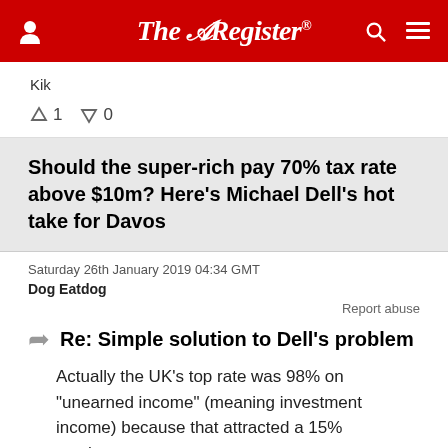The Register
Kik
↑1  ↓0
Should the super-rich pay 70% tax rate above $10m? Here's Michael Dell's hot take for Davos
Saturday 26th January 2019 04:34 GMT
Dog Eatdog
Report abuse
Re: Simple solution to Dell's problem
Actually the UK's top rate was 98% on "unearned income" (meaning investment income) because that attracted a 15% surcharge.
↑12  ↓0